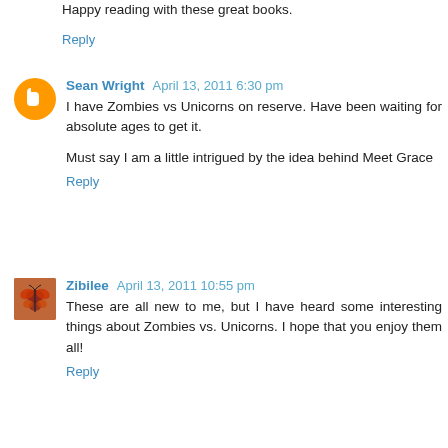Happy reading with these great books.
Reply
Sean Wright  April 13, 2011 6:30 pm
I have Zombies vs Unicorns on reserve. Have been waiting for absolute ages to get it.
Must say I am a little intrigued by the idea behind Meet Grace
Reply
Zibilee  April 13, 2011 10:55 pm
These are all new to me, but I have heard some interesting things about Zombies vs. Unicorns. I hope that you enjoy them all!
Reply